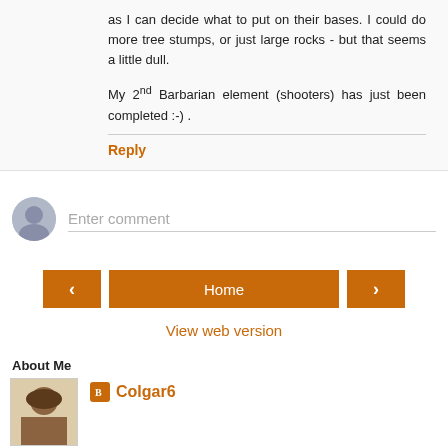as I can decide what to put on their bases. I could do more tree stumps, or just large rocks - but that seems a little dull.

My 2nd Barbarian element (shooters) has just been completed :-) .
Reply
Enter comment
Home
View web version
About Me
Colgar6